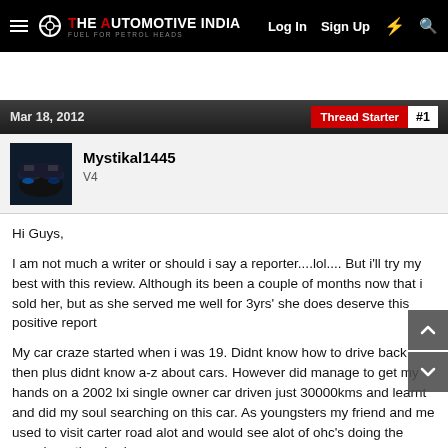The Automotive India — Log In  Sign Up
Mar 18, 2012  Thread Starter  #1
Mystikal1445
V4
Hi Guys,
I am not much a writer or should i say a reporter....lol.... But i'll try my best with this review. Although its been a couple of months now that i sold her, but as she served me well for 3yrs' she does deserve this positive report

My car craze started when i was 19. Didnt know how to drive back then plus didnt know a-z about cars. However did manage to get my hands on a 2002 lxi single owner car driven just 30000kms and learnt and did my soul searching on this car. As youngsters my friend and me used to visit carter road alot and would see alot of ohc's doing the rounds so thus had